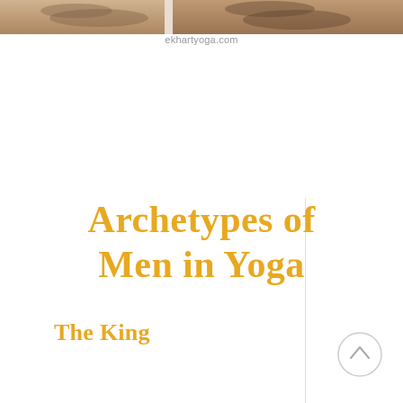[Figure (photo): Partial view of people doing yoga poses on a wooden floor, cropped at top of page]
ekhartyoga.com
Archetypes of Men in Yoga
The King
[Figure (other): Back-to-top navigation button, circular outline with upward chevron arrow]